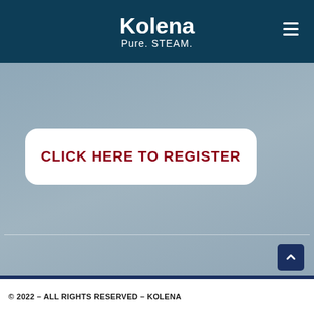Kolena Pure. STEAM.
CLICK HERE TO REGISTER
[Figure (logo): Social media icons: Facebook, Twitter, Instagram, LinkedIn, YouTube, Email]
© 2022 – ALL RIGHTS RESERVED – KOLENA